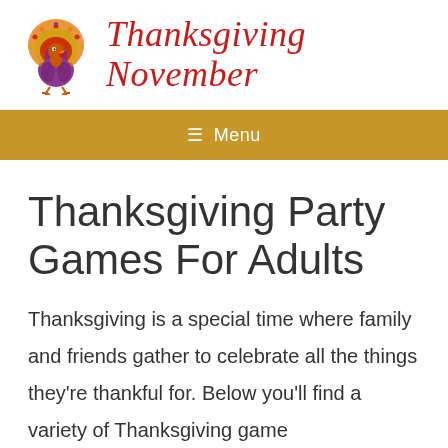[Figure (illustration): Colorful cartoon turkey with decorative feathers in orange, yellow, red, and purple tones]
Thanksgiving November
≡ Menu
Thanksgiving Party Games For Adults
Thanksgiving is a special time where family and friends gather to celebrate all the things they're thankful for. Below you'll find a variety of Thanksgiving game